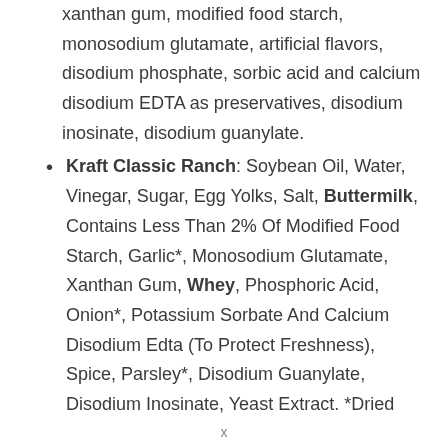xanthan gum, modified food starch, monosodium glutamate, artificial flavors, disodium phosphate, sorbic acid and calcium disodium EDTA as preservatives, disodium inosinate, disodium guanylate.
Kraft Classic Ranch: Soybean Oil, Water, Vinegar, Sugar, Egg Yolks, Salt, Buttermilk, Contains Less Than 2% Of Modified Food Starch, Garlic*, Monosodium Glutamate, Xanthan Gum, Whey, Phosphoric Acid, Onion*, Potassium Sorbate And Calcium Disodium Edta (To Protect Freshness), Spice, Parsley*, Disodium Guanylate, Disodium Inosinate, Yeast Extract. *Dried
x